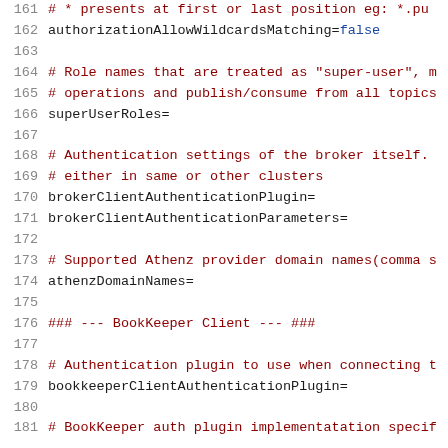[Figure (screenshot): Source code viewer showing configuration file lines 161-181 with line numbers, comments in dark red and identifiers in dark color, with 'false' keyword highlighted in blue.]